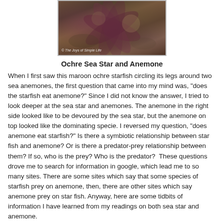[Figure (photo): Close-up photograph of a maroon ochre sea star (starfish) with its arms around sea anemones, on a rocky surface. Watermark reads: © The Joys of Simple Life]
Ochre Sea Star and Anemone
When I first saw this maroon ochre starfish circling its legs around two sea anemones, the first question that came into my mind was, "does the starfish eat anemone?" Since I did not know the answer, I tried to look deeper at the sea star and anemones. The anemone in the right side looked like to be devoured by the sea star, but the anemone on top looked like the dominating specie. I reversed my question, "does anemone eat starfish?" Is there a symbiotic relationship between star fish and anemone? Or is there a predator-prey relationship between them? If so, who is the prey? Who is the predator?  These questions drove me to search for information in google, which lead me to so many sites. There are some sites which say that some species of starfish prey on anemone, then, there are other sites which say anemone prey on star fish. Anyway, here are some tidbits of information I have learned from my readings on both sea star and anemone.